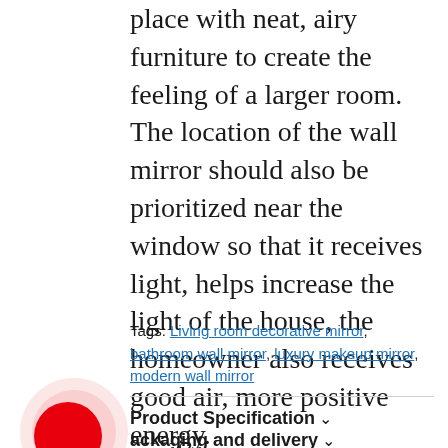place with neat, airy furniture to create the feeling of a larger room. The location of the wall mirror should also be prioritized near the window so that it receives light, helps increase the light of the house, the homeowner also receives good air, more positive energy.
Tags: Living room decorative mirror, bathroom wall mirror, luxury makeup mirror, modern wall mirror
Product Specification ∨
[Figure (logo): Red circle logo on white background with concentric ring]
ackaging and delivery ∨